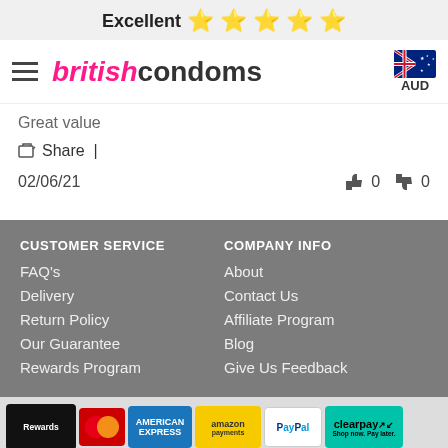Excellent ⭐⭐⭐⭐⭐
[Figure (logo): British Condoms logo with hamburger menu and Australian flag AUD currency selector]
Great value
Share |
02/06/21    👍 0   👎 0
CUSTOMER SERVICE
FAQ's
Delivery
Return Policy
Our Guarantee
Rewards Program
COMPANY INFO
About
Contact Us
Affiliate Program
Blog
Give Us Feedback
[Figure (other): Payment method logos: Rewards card, MasterCard, American Express, Amazon Payments, PayPal, Clearpay]